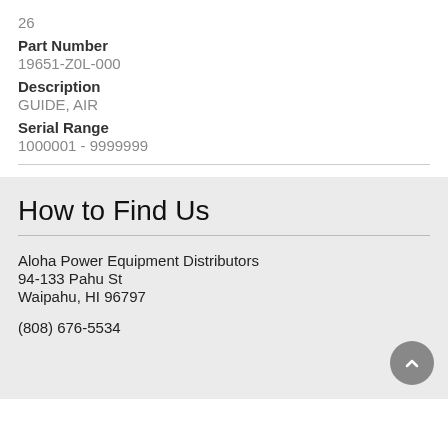26
Part Number
19651-Z0L-000
Description
GUIDE, AIR
Serial Range
1000001 - 9999999
How to Find Us
Aloha Power Equipment Distributors
94-133 Pahu St
Waipahu, HI 96797
(808) 676-5534